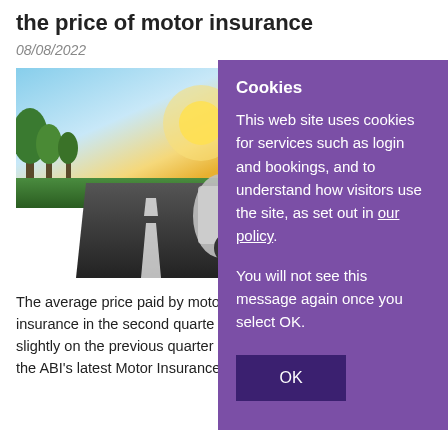the price of motor insurance
08/08/2022
[Figure (photo): Photo of a car on a road with sunlight and trees in the background, viewed from behind at low angle]
The average price paid by moto insurance in the second quarte slightly on the previous quarter the ABI's latest Motor Insurance Premium Tracker.
Cookies
This web site uses cookies for services such as login and bookings, and to understand how visitors use the site, as set out in our policy.
You will not see this message again once you select OK.
OK